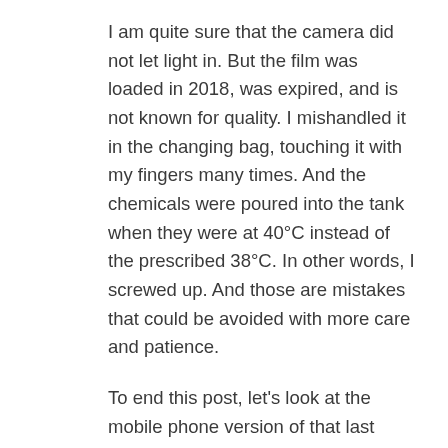I am quite sure that the camera did not let light in. But the film was loaded in 2018, was expired, and is not known for quality. I mishandled it in the changing bag, touching it with my fingers many times. And the chemicals were poured into the tank when they were at 40°C instead of the prescribed 38°C. In other words, I screwed up. And those are mistakes that could be avoided with more care and patience.
To end this post, let's look at the mobile phone version of that last picture from the series above. Why bother with film photography when the digital image can be